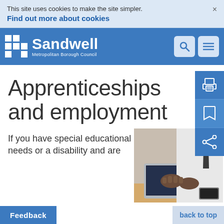This site uses cookies to make the site simpler.
Find out more about cookies
[Figure (logo): Sandwell Metropolitan Borough Council logo with white grid icon and white text on blue background]
Apprenticeships and employment
If you have special educational needs or a disability and are
[Figure (photo): Person in white shirt and dark tie typing on a laptop at a desk]
Feedback   back to top